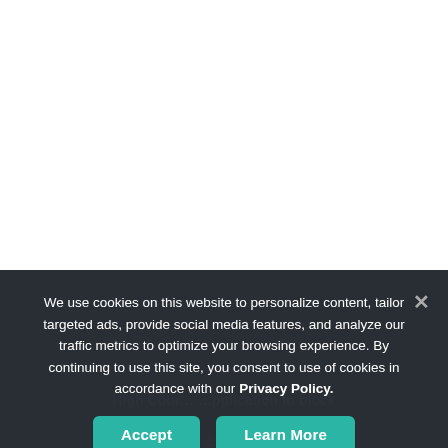[Figure (screenshot): White blank upper portion of a webpage, with a dark overlay cookie consent banner covering the lower half. Behind the banner, faint text reads 'High Cour... ...pplication to block' and other partially visible article text with a dark background.]
We use cookies on this website to personalize content, tailor targeted ads, provide social media features, and analyze our traffic metrics to optimize your browsing experience. By continuing to use this site, you consent to use of cookies in accordance with our Privacy Policy.
Accept
Learn More